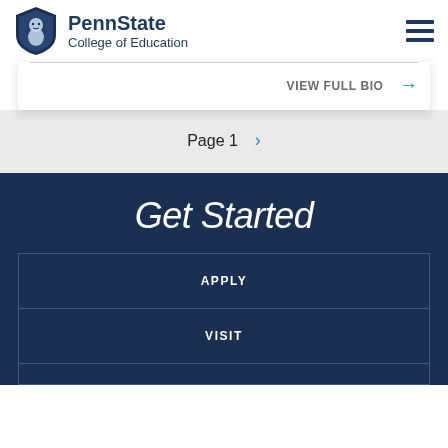PennState College of Education
VIEW FULL BIO →
Page 1 ›
Get Started
APPLY
VISIT